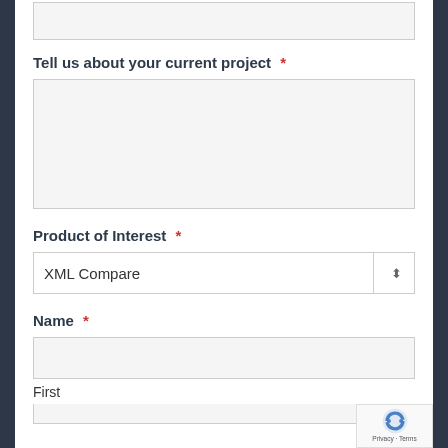(top input area - partial)
Tell us about your current project *
(text area field)
Product of Interest *
XML Compare (dropdown)
Name *
(text input - First)
First